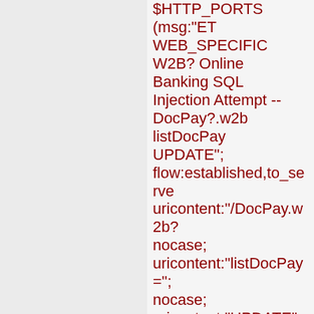$HTTP_PORTS (msg:"ET WEB_SPECIFIC W2B? Online Banking SQL Injection Attempt -- DocPay?.w2b listDocPay UPDATE"; flow:established,to_server; uricontent:"/DocPay.w2b?; nocase; uricontent:"listDocPay="; nocase; uricontent:"UPDATE"; nocase; pcre:"/UPDATE.+SET/Ui"; classtype:web-application-attack; reference:cve,CVE-2007-3175; reference:url,xforce.iss.ne; sid:2005191; rev:3;)